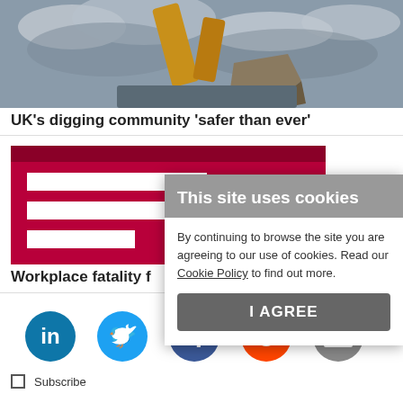[Figure (photo): Construction excavator/digger arm against cloudy sky]
UK's digging community 'safer than ever'
[Figure (logo): Red background logo with white horizontal stripes and arrow, partially obscured by cookie dialog]
Workplace fatality f
[Figure (infographic): Cookie consent dialog overlay: 'This site uses cookies' header in grey, body text 'By continuing to browse the site you are agreeing to our use of cookies. Read our Cookie Policy to find out more.' with I AGREE button]
[Figure (infographic): Social media icons row: LinkedIn (blue), Twitter (light blue), Facebook (dark blue), Reddit (orange), Email (grey)]
Subscribe